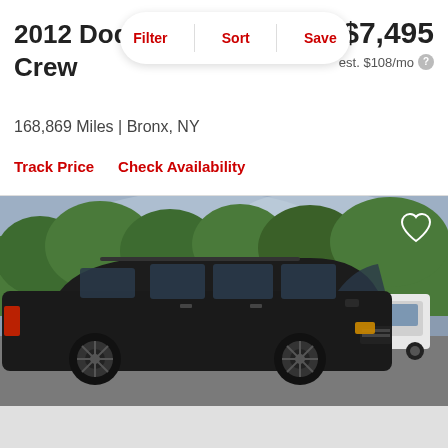2012 Dodge Grand Caravan Crew
$7,495
est. $108/mo
168,869 Miles | Bronx, NY
Track Price   Check Availability
[Figure (photo): Black 2012 Dodge Grand Caravan Crew minivan parked in a lot, with trees in the background and a white SUV visible to the right.]